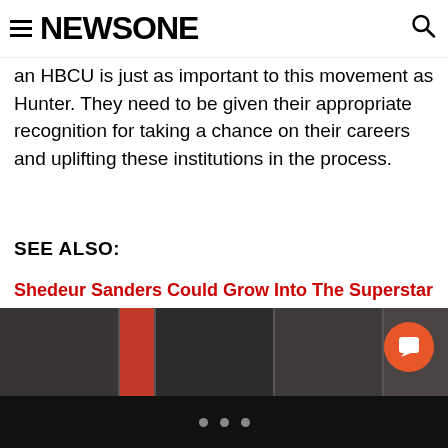NEWSONE
an HBCU is just as important to this movement as Hunter. They need to be given their appropriate recognition for taking a chance on their careers and uplifting these institutions in the process.
SEE ALSO:
Shedeur Sanders Could Grow Into The Superstar That HBCU Sports Needs
Deion Sanders Has IG Model Brittany Renner Speak To His Players About The Dangers Of IG Models
[Figure (photo): Horizontal image strip showing multiple photos at the bottom of the article page]